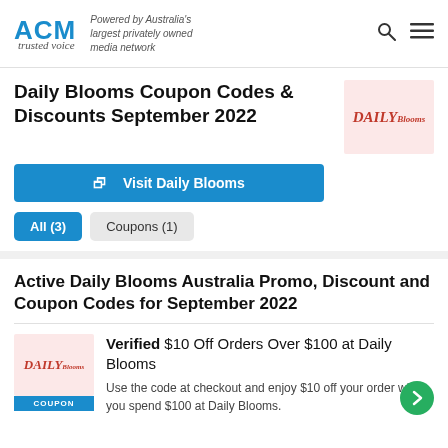ACM trusted voice — Powered by Australia's largest privately owned media network
Daily Blooms Coupon Codes & Discounts September 2022
Visit Daily Blooms
All (3)   Coupons (1)
Active Daily Blooms Australia Promo, Discount and Coupon Codes for September 2022
Verified $10 Off Orders Over $100 at Daily Blooms
Use the code at checkout and enjoy $10 off your order when you spend $100 at Daily Blooms.